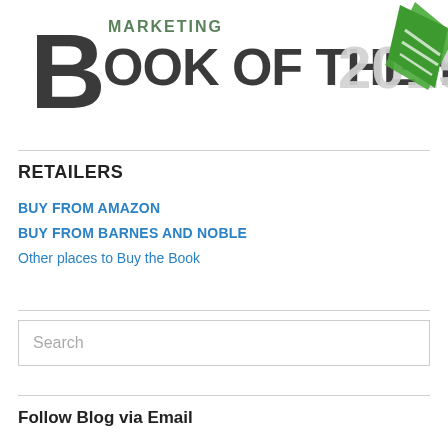[Figure (logo): Marketing Book of the Year 2015 logo with large stylized 'B', text 'MARKETING BOOK OF THE YEAR 2015', and a green diamond/book icon on the right]
RETAILERS
BUY FROM AMAZON
BUY FROM BARNES AND NOBLE
Other places to Buy the Book
Search
Follow Blog via Email